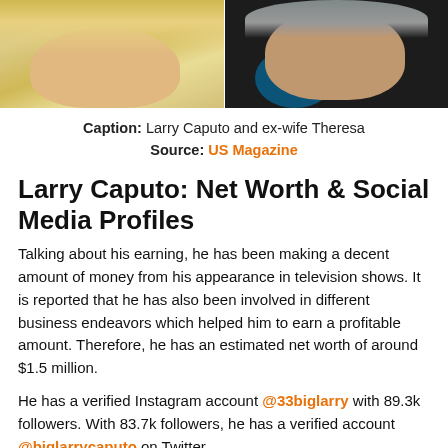[Figure (photo): Two cropped photos side by side: left shows a blonde woman (Theresa), right shows an older man with grey beard (Larry Caputo)]
Caption: Larry Caputo and ex-wife Theresa
Source: US Magazine
Larry Caputo: Net Worth & Social Media Profiles
Talking about his earning, he has been making a decent amount of money from his appearance in television shows. It is reported that he has also been involved in different business endeavors which helped him to earn a profitable amount. Therefore, he has an estimated net worth of around $1.5 million.
He has a verified Instagram account @33biglarry with 89.3k followers. With 83.7k followers, he has a verified account @biglarrycaputo on Twitter.